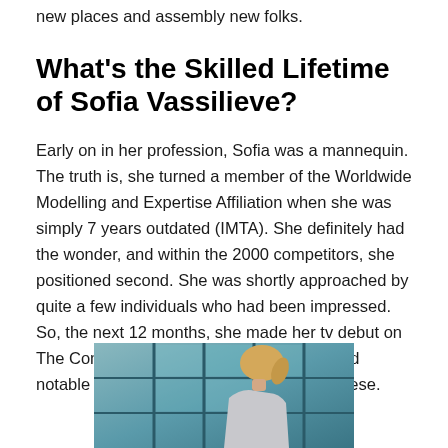new places and assembly new folks.
What's the Skilled Lifetime of Sofia Vassilieve?
Early on in her profession, Sofia was a mannequin. The truth is, she turned a member of the Worldwide Modelling and Expertise Affiliation when she was simply 7 years outdated (IMTA). She definitely had the wonder, and within the 2000 competitors, she positioned second. She was shortly approached by quite a few individuals who had been impressed. So, the next 12 months, she made her tv debut on The Company, a CBS sequence that starred notable actors like Terri Lowell and Carl Reese.
[Figure (photo): Partial view of a blonde woman photographed from behind/side, against a background of large windows with teal/blue-green tones.]